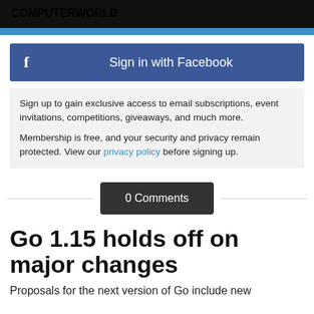COMPUTERWORLD
[Figure (screenshot): Blue bar separator below header]
[Figure (screenshot): Sign in with Facebook button with Facebook f icon]
Sign up to gain exclusive access to email subscriptions, event invitations, competitions, giveaways, and much more.

Membership is free, and your security and privacy remain protected. View our privacy policy before signing up.
0 Comments
Go 1.15 holds off on major changes
Proposals for the next version of Go include new